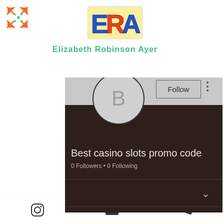[Figure (logo): Expand/fullscreen icon in orange with green decorative stars, top-left corner]
[Figure (logo): ERA colorful block letters logo in blue/orange/yellow]
Elizabeth Robinson Ayer
[Figure (screenshot): Mobile app profile page screenshot showing: gray cover photo area, circular avatar with letter B, Follow button, three-dots menu, dark brown background, username 'Best casino slots promo code', '0 Followers • 0 Following', chevron down icon, 'Profile' section label]
[Figure (other): Bottom navigation bar with Instagram icon, email/envelope icon, and phone icon]